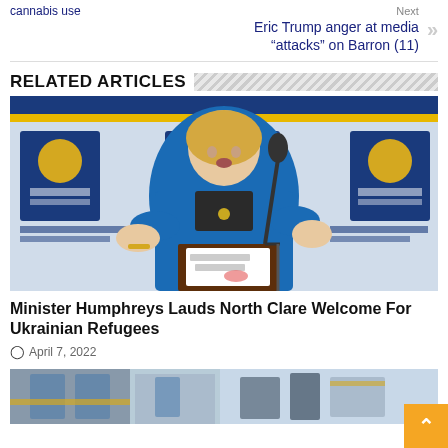cannabis use
Next
Eric Trump anger at media “attacks” on Barron (11)
RELATED ARTICLES
[Figure (photo): Woman in blue jacket speaking at a podium with a microphone, institutional logos in background]
Minister Humphreys Lauds North Clare Welcome For Ukrainian Refugees
○ April 7, 2022
[Figure (photo): Partial view of a building exterior]